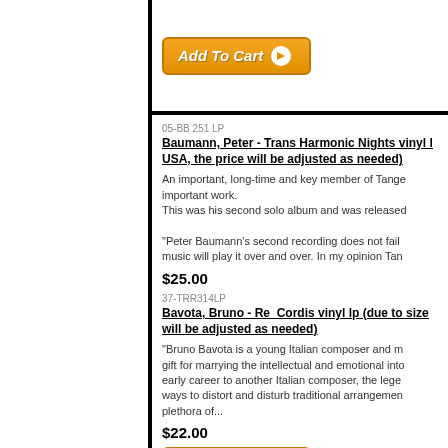[Figure (other): Add To Cart button (orange, italic, with arrow)]
05-BB 251 LP
Baumann, Peter - Trans Harmonic Nights vinyl lp (due to size USA, the price will be adjusted as needed)
An important, long-time and key member of Tange important work. This was his second solo album and was released
"Peter Baumann's second recording does not fail music will play it over and over. In my opinion Tan
$25.00
[Figure (other): Add To Cart button (orange, italic, with arrow)]
37-TRR314LP
Bavota, Bruno - Re  Cordis vinyl lp (due to size will be adjusted as needed)
"Bruno Bavota is a young Italian composer and m gift for marrying the intellectual and emotional into early career to another Italian composer, the lege ways to distort and disturb traditional arrangemen plethora of...
$22.00
[Figure (other): Add To Cart button (orange, italic, with arrow)]